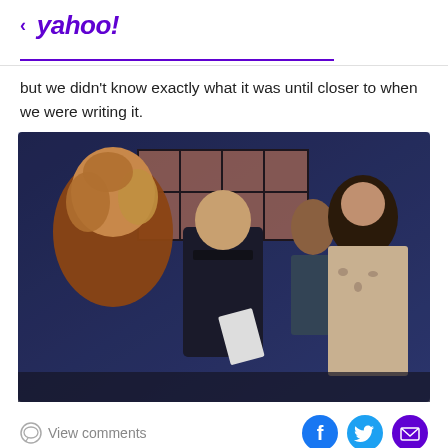< yahoo!
but we didn't know exactly what it was until closer to when we were writing it.
[Figure (photo): Scene from a TV show with four actors in conversation: a woman with curly reddish-blonde hair facing away (in a rust-colored outfit), a man in a dark blazer in the center, another person with short hair in a striped shirt behind, and a woman with dark hair in a leopard-print sweater on the right, in a blue-lit interior setting]
View comments